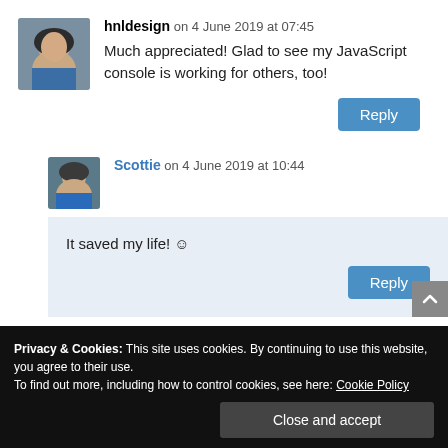hnldesign on 4 June 2019 at 07:45
Much appreciated! Glad to see my JavaScript console is working for others, too!
Reply
Scottie on 4 June 2019 at 10:44
It saved my life! ☺
Reply
Privacy & Cookies: This site uses cookies. By continuing to use this website, you agree to their use.
To find out more, including how to control cookies, see here: Cookie Policy
Close and accept
Your email address will not be published. Required fields are